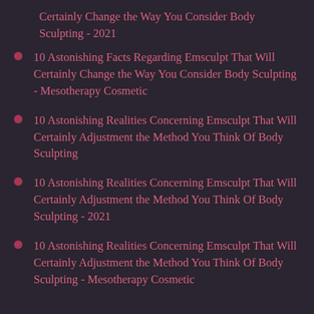Certainly Change the Way You Consider Body Sculpting - 2021
10 Astonishing Facts Regarding Emsculpt That Will Certainly Change the Way You Consider Body Sculpting - Mesotherapy Cosmetic
10 Astonishing Realities Concerning Emsculpt That Will Certainly Adjustment the Method You Think Of Body Sculpting
10 Astonishing Realities Concerning Emsculpt That Will Certainly Adjustment the Method You Think Of Body Sculpting - 2021
10 Astonishing Realities Concerning Emsculpt That Will Certainly Adjustment the Method You Think Of Body Sculpting - Mesotherapy Cosmetic